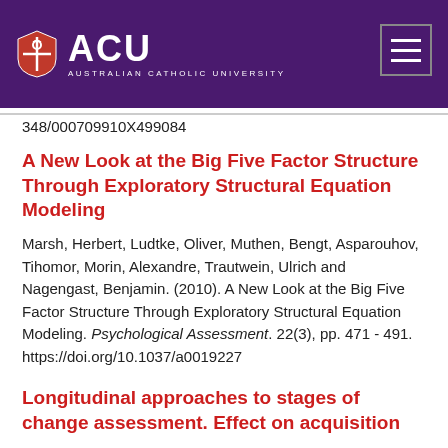[Figure (logo): ACU (Australian Catholic University) logo with shield and text on purple header banner]
348/000709910X499084
A New Look at the Big Five Factor Structure Through Exploratory Structural Equation Modeling
Marsh, Herbert, Ludtke, Oliver, Muthen, Bengt, Asparouhov, Tihomor, Morin, Alexandre, Trautwein, Ulrich and Nagengast, Benjamin. (2010). A New Look at the Big Five Factor Structure Through Exploratory Structural Equation Modeling. Psychological Assessment. 22(3), pp. 471 - 491. https://doi.org/10.1037/a0019227
Longitudinal approaches to stages of change assessment. Effect on acquisition...